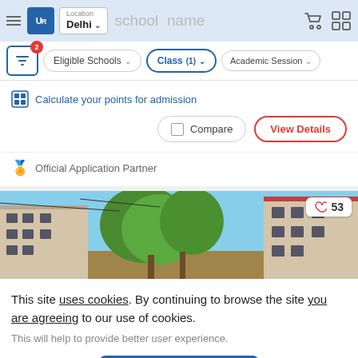UR — Location: Delhi — school name (navbar)
Eligible Schools | Class (1) | Academic Session
Calculate your points for admission
Compare | View Details
Official Application Partner
[Figure (photo): School building exterior with large trees, blue sky, multi-storey building with red trim on the right. Heart/like count badge showing 53.]
This site uses cookies. By continuing to browse the site you are agreeing to our use of cookies.
This will help to provide better user experience.
Ok, I Understand